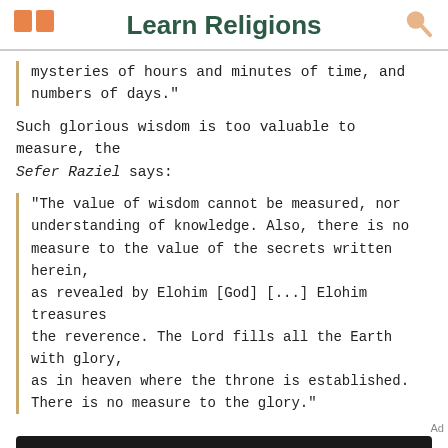Learn Religions
mysteries of hours and minutes of time, and numbers of days."
Such glorious wisdom is too valuable to measure, the Sefer Raziel says:
"The value of wisdom cannot be measured, nor understanding of knowledge. Also, there is no measure to the value of the secrets written herein, as revealed by Elohim [God] [...] Elohim treasures the reverence. The Lord fills all the Earth with glory, as in heaven where the throne is established. There is no measure to the glory."
[Figure (screenshot): Dotdash Meredith advertisement banner: 'We help people find answers, solve problems and get inspired.']